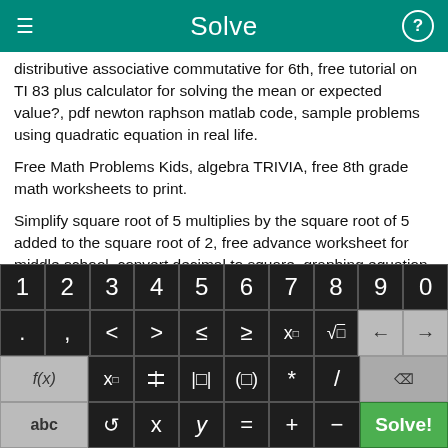Solve
distributive associative commutative for 6th, free tutorial on TI 83 plus calculator for solving the mean or expected value?, pdf newton raphson matlab code, sample problems using quadratic equation in real life.
Free Math Problems Kids, algebra TRIVIA, free 8th grade math worksheets to print.
Simplify square root of 5 multiplies by the square root of 5 added to the square root of 2, free advance worksheet for middle school, convert decimal to square, graphing equation for algebra
[Figure (screenshot): Math keyboard with digits 0-9, math operators and symbols including inequality signs, square root, power, fraction, absolute value, parentheses, multiplication, division, plus minus equals, x y abc variables, f(x), and Solve! button.]